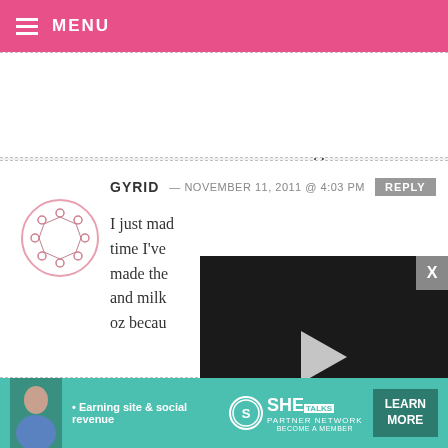MENU
on hand. They are going to be my newest addiction :] Thanks for sharing.
GYRID — NOVEMBER 11, 2011 @ 4:03 PM
I just mad... time I've... made the... and milk... oz becau... Norwegian stores don't have the best
[Figure (screenshot): Video player overlay with play button, progress bar showing 13:52, and playback controls]
Norwegian stores don't have the best